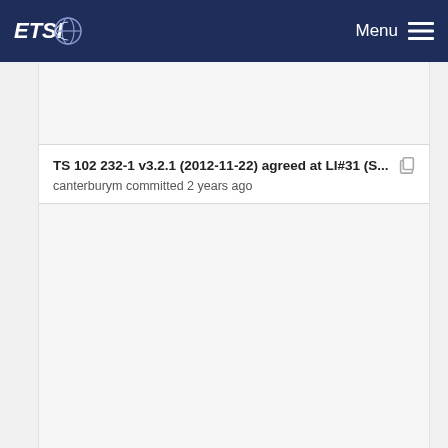ETSI  Menu
TS 102 232-1 v3.2.1 (2012-11-22) agreed at LI#31 (S...
canterburym committed 2 years ago
TS 102 232-1 v2.3.1 (2008-07-18) agreed at LI#18 (C...
canterburym committed 2 years ago
TS 102 232-1 v3.2.1 (2012-11-22) agreed at LI#31 (S...
canterburym committed 2 years ago